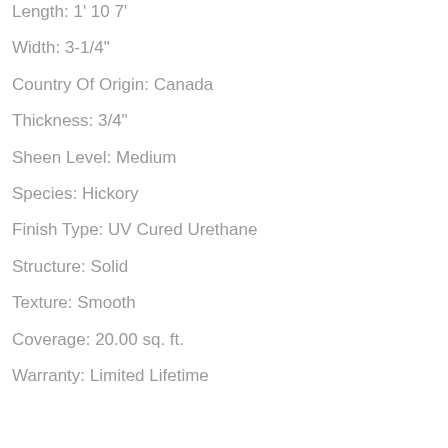Length: 1' 10 7'
Width: 3-1/4"
Country Of Origin: Canada
Thickness: 3/4"
Sheen Level: Medium
Species: Hickory
Finish Type: UV Cured Urethane
Structure: Solid
Texture: Smooth
Coverage: 20.00 sq. ft.
Warranty: Limited Lifetime